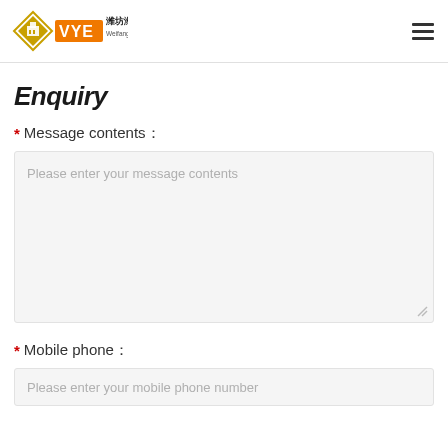Weifang VYE Machinery Co. LTD
Enquiry
* Message contents 
Please enter your message contents
* Mobile phone 
Please enter your mobile phone number